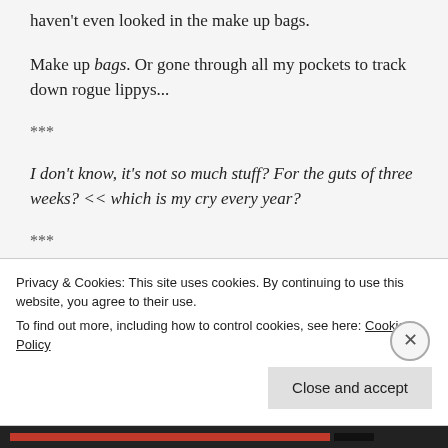haven't even looked in the make up bags.
Make up bags. Or gone through all my pockets to track down rogue lippys...
***
I don't know, it's not so much stuff? For the guts of three weeks? << which is my cry every year?
***
Privacy & Cookies: This site uses cookies. By continuing to use this website, you agree to their use.
To find out more, including how to control cookies, see here: Cookie Policy